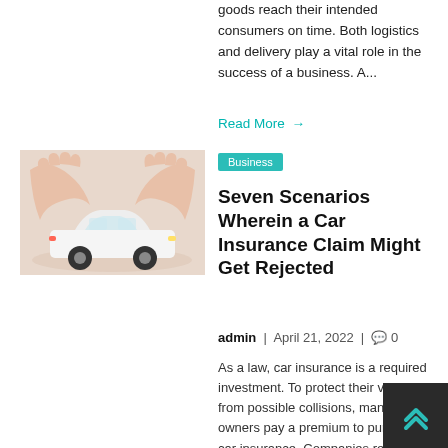goods reach their intended consumers on time. Both logistics and delivery play a vital role in the success of a business. A...
Read More →
[Figure (photo): Hands forming a protective arch over a white toy car, symbolizing car insurance protection]
Business
Seven Scenarios Wherein a Car Insurance Claim Might Get Rejected
admin | April 21, 2022 | 🗨 0
As a law, car insurance is a required investment. To protect their vehicles from possible collisions, many car owners pay a premium to purchase car insurance. Companies reject most of the claims they receive, despite… Because people don't know…